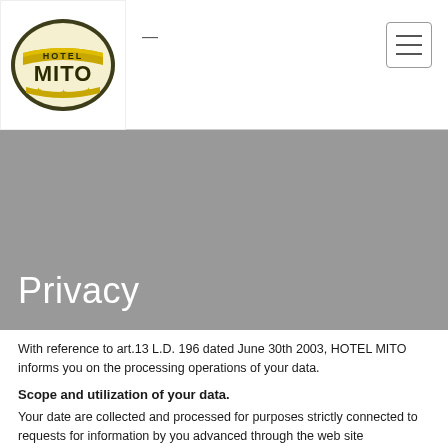[Figure (logo): Hotel Mito logo with stars and yellow banner]
Privacy
With reference to art.13 L.D. 196 dated June 30th 2003, HOTEL MITO informs you on the processing operations of your data.
Scope and utilization of your data.
Your date are collected and processed for purposes strictly connected to requests for information by you advanced through the web site info@hotelmito.it